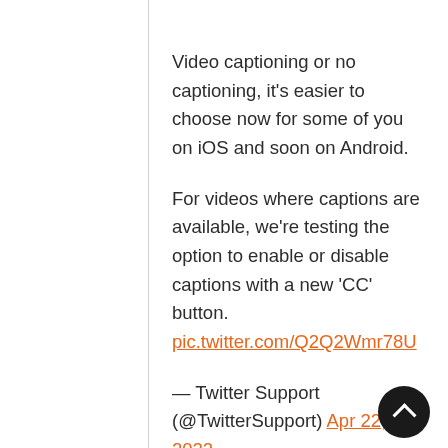Video captioning or no captioning, it's easier to choose now for some of you on iOS and soon on Android.
For videos where captions are available, we're testing the option to enable or disable captions with a new 'CC' button. pic.twitter.com/Q2Q2Wmr78U
— Twitter Support (@TwitterSupport) Apr 22, 2022